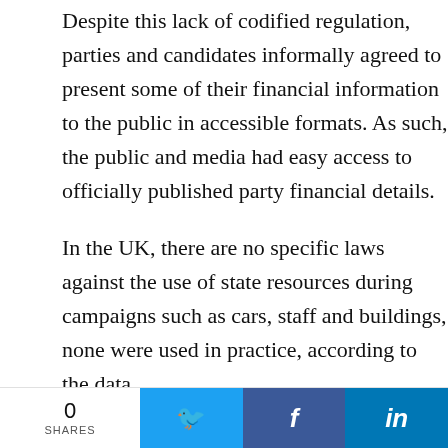Despite this lack of codified regulation, parties and candidates informally agreed to present some of their financial information to the public in accessible formats. As such, the public and media had easy access to officially published party financial details.
In the UK, there are no specific laws against the use of state resources during campaigns such as cars, staff and buildings, none were used in practice, according to the data.
It suggests that even in the absence of tight political finance regulation, political norms and traditions can more than compensate for the same. In these contexts, specific bans do not appear to be necessary due to prevailing political norms.
0 SHARES | Twitter | Facebook | LinkedIn